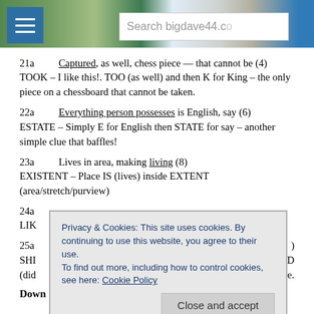Search bigdave44.co
21a   Captured, as well, chess piece — that cannot be (4)
TOOK – I like this!. TOO (as well) and then K for King – the only piece on a chessboard that cannot be taken.
22a   Everything person possesses is English, say (6)
ESTATE – Simply E for English then STATE for say – another simple clue that baffles!
23a   Lives in area, making living (8)
EXISTENT – Place IS (lives) inside EXTENT (area/stretch/purview)
24a   ...
25a   ...
Privacy & Cookies: This site uses cookies. By continuing to use this website, you agree to their use. To find out more, including how to control cookies, see here: Cookie Policy
Down